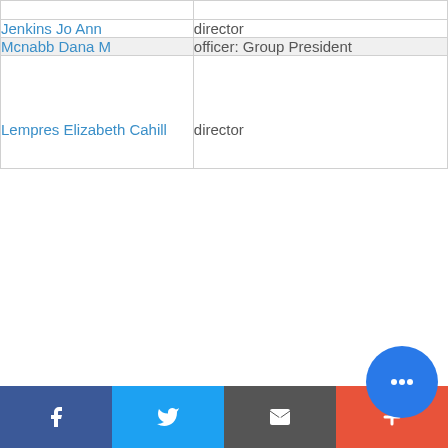| Name | Role |
| --- | --- |
| Jenkins Jo Ann | director |
| Mcnabb Dana M | officer: Group President |
| Lempres Elizabeth Cahill | director |